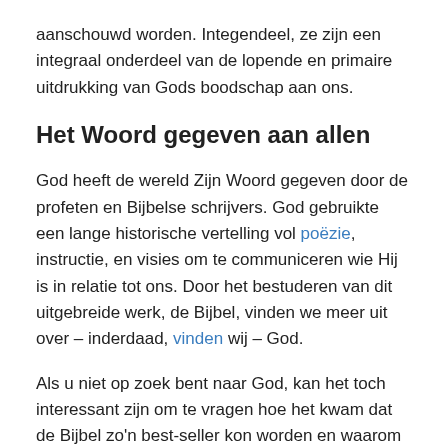aanschouwd worden. Integendeel, ze zijn een integraal onderdeel van de lopende en primaire uitdrukking van Gods boodschap aan ons.
Het Woord gegeven aan allen
God heeft de wereld Zijn Woord gegeven door de profeten en Bijbelse schrijvers. God gebruikte een lange historische vertelling vol poëzie, instructie, en visies om te communiceren wie Hij is in relatie tot ons. Door het bestuderen van dit uitgebreide werk, de Bijbel, vinden we meer uit over – inderdaad, vinden wij – God.
Als u niet op zoek bent naar God, kan het toch interessant zijn om te vragen hoe het kwam dat de Bijbel zo'n best-seller kon worden en waarom het zo'n interessant boek